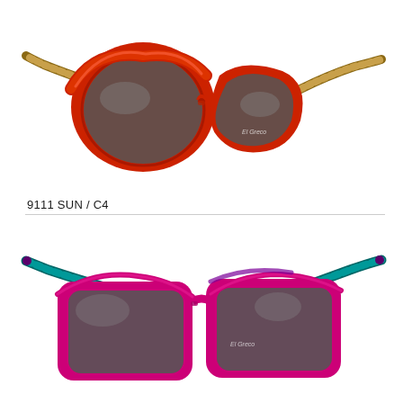[Figure (photo): Red cat-eye sunglasses with tortoiseshell temples, shown from a three-quarter angle. Large rounded cat-eye frames in bright red/orange with dark gradient lenses. Arms have a tortoiseshell brown pattern.]
9111 SUN / C4
[Figure (photo): Magenta/pink oversized square sunglasses with teal/turquoise striped temples and purple tips, shown from a three-quarter angle. Frames are bright fuchsia/magenta with dark gradient lenses.]